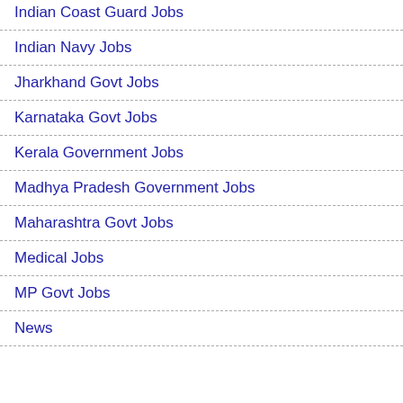Indian Coast Guard Jobs
Indian Navy Jobs
Jharkhand Govt Jobs
Karnataka Govt Jobs
Kerala Government Jobs
Madhya Pradesh Government Jobs
Maharashtra Govt Jobs
Medical Jobs
MP Govt Jobs
News